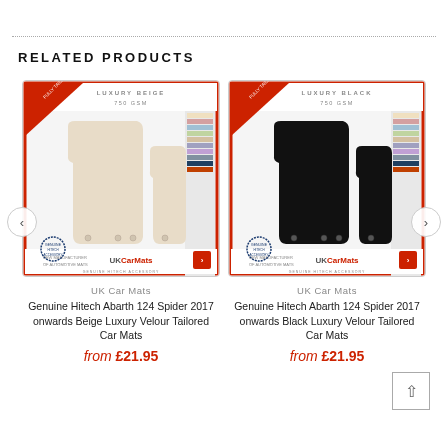RELATED PRODUCTS
[Figure (photo): UK Car Mats product image showing beige luxury velour car mats for Abarth 124 Spider 2017 onwards with red border packaging]
UK Car Mats
Genuine Hitech Abarth 124 Spider 2017 onwards Beige Luxury Velour Tailored Car Mats
from £21.95
[Figure (photo): UK Car Mats product image showing black luxury velour car mats for Abarth 124 Spider 2017 onwards with red border packaging]
UK Car Mats
Genuine Hitech Abarth 124 Spider 2017 onwards Black Luxury Velour Tailored Car Mats
from £21.95